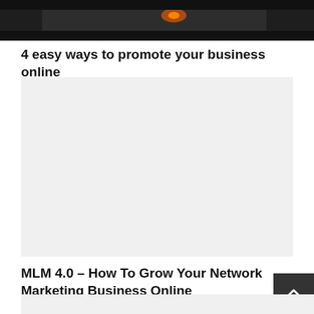[Figure (photo): Dark photo showing a room or outdoor scene with a reddish-orange light visible in background]
4 easy ways to promote your business online
[Figure (other): Light gray advertisement or placeholder block]
MLM 4.0 – How To Grow Your Network Marketing Business Online
[Figure (photo): Partially visible photo at bottom of page]